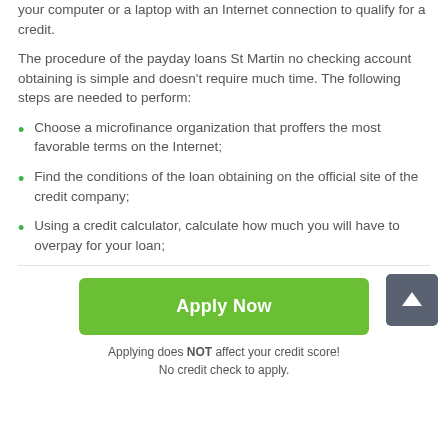your computer or a laptop with an Internet connection to qualify for a credit.
The procedure of the payday loans St Martin no checking account obtaining is simple and doesn't require much time. The following steps are needed to perform:
Choose a microfinance organization that proffers the most favorable terms on the Internet;
Find the conditions of the loan obtaining on the official site of the credit company;
Using a credit calculator, calculate how much you will have to overpay for your loan;
[Figure (other): Green 'Apply Now' button]
Applying does NOT affect your credit score!
No credit check to apply.